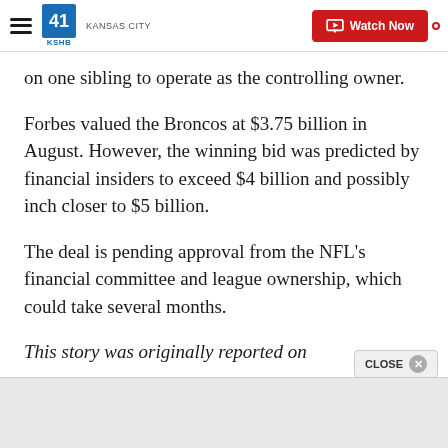41 KSHB KANSAS CITY | Watch Now
on one sibling to operate as the controlling owner.
Forbes valued the Broncos at $3.75 billion in August. However, the winning bid was predicted by financial insiders to exceed $4 billion and possibly inch closer to $5 billion.
The deal is pending approval from the NFL's financial committee and league ownership, which could take several months.
This story was originally reported on